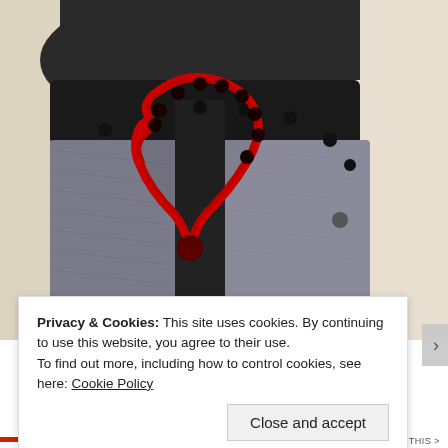[Figure (photo): A person wearing dark grey athletic leggings and a dark top, shown from the waist/hip area. A red outlined teardrop/loop shape is overlaid on the image with dark dots around its perimeter, appearing to be an annotation or segmentation outline on the clothing. The background is a light beige/cream wall.]
Privacy & Cookies: This site uses cookies. By continuing to use this website, you agree to their use.
To find out more, including how to control cookies, see here: Cookie Policy
Close and accept